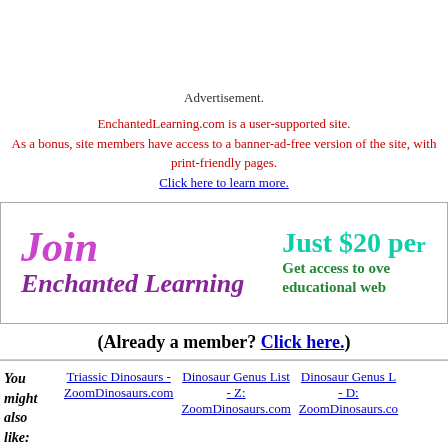Advertisement.
EnchantedLearning.com is a user-supported site. As a bonus, site members have access to a banner-ad-free version of the site, with print-friendly pages.
Click here to learn more.
[Figure (infographic): Join Enchanted Learning banner with 'Just $20 per year' and 'Get access to over educational web' text]
(Already a member? Click here.)
You might also like: Triassic Dinosaurs - ZoomDinosaurs.com | Dinosaur Genus List - Z: ZoomDinosaurs.com | Dinosaur Genus List - D: ZoomDinosaurs.com